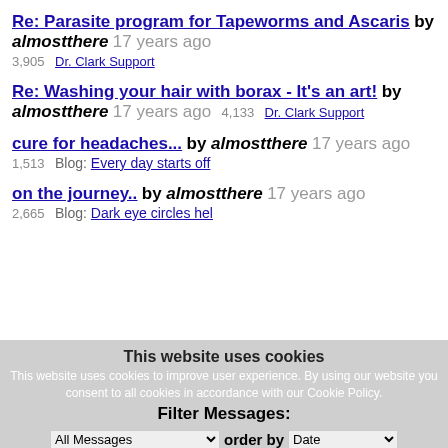Re: Parasite program for Tapeworms and Ascaris by almostthere 17 years ago 3,905 Dr. Clark Support
Re: Washing your hair with borax - It's an art! by almostthere 17 years ago 4,133 Dr. Clark Support
cure for headaches... by almostthere 17 years ago 1,513 Blog: Every day starts off
on the journey.. by almostthere 17 years ago 2,665 Blog: Dark eye circles hel
This website uses cookies
This website uses cookies to improve user experience. By using our website you consent to all cookies in accordance with our Cookie Policy.
Filter Messages: order by Date
All Messages Get Messages
I agree I disagree Read more